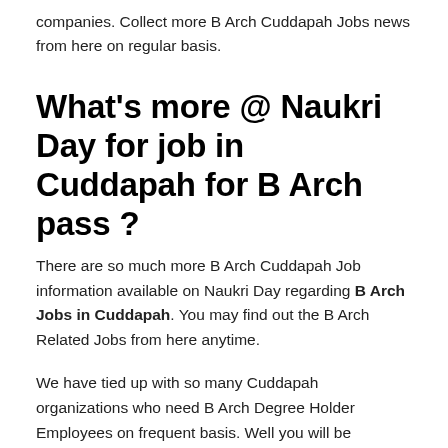companies. Collect more B Arch Cuddapah Jobs news from here on regular basis.
What's more @ Naukri Day for job in Cuddapah for B Arch pass ?
There are so much more B Arch Cuddapah Job information available on Naukri Day regarding B Arch Jobs in Cuddapah. You may find out the B Arch Related Jobs from here anytime.
We have tied up with so many Cuddapah organizations who need B Arch Degree Holder Employees on frequent basis. Well you will be